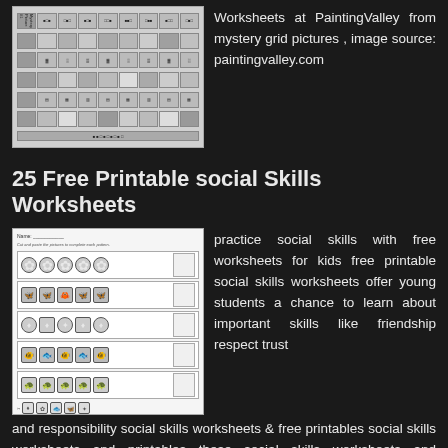[Figure (photo): Thumbnail image of a mystery grid picture worksheet with rows and columns of small cells]
Worksheets at PaintingValley from mystery grid pictures , image source: paintingvalley.com
25 Free Printable social Skills Worksheets
[Figure (photo): Thumbnail image of a social skills worksheet showing cut and paste pattern activities with shapes and icons in rows]
practice social skills with free worksheets for kids free printable social skills worksheets offer young students a chance to learn about important skills like friendship respect trust and responsibility social skills worksheets & free printables social skills worksheets and printables these social skills worksheets and printables help kids learn valuable skills of emotional literacy munication [...]